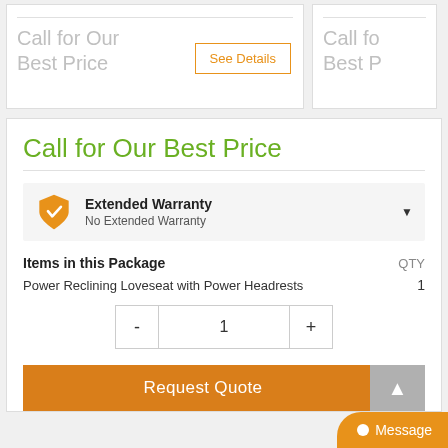Call for Our Best Price
See Details
Call fo Best P
Call for Our Best Price
Extended Warranty
No Extended Warranty
Items in this Package
QTY
Power Reclining Loveseat with Power Headrests	1
- 1 +
Request Quote
Message